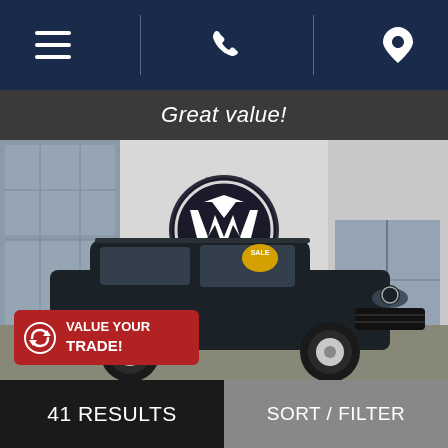Navigation bar with menu, phone, and location icons
Great value!
[Figure (photo): Volkswagen dealership exterior with large VW logo on building facade, and a dark-colored VW Tiguan SUV parked in front with a 'SALE' sticker on windshield. A red 'VALUE YOUR TRADE!' overlay badge appears in the lower-left corner of the image.]
VALUE YOUR TRADE!
41 RESULTS    SORT / FILTER